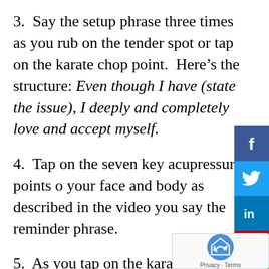3.  Say the setup phrase three times as you rub on the tender spot or tap on the karate chop point.  Here's the structure: Even though I have (state the issue), I deeply and completely love and accept myself.
4.  Tap on the seven key acupressure points on your face and body as described in the video you say the reminder phrase.
5.  As you tap on the karate chop point on the side of your hand, restate the setup phrase and add a positive affirmation.  I use something like this: Even though I have (state the issue), I